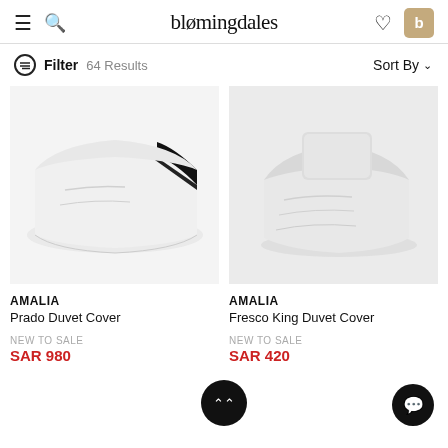bloomingdales
Filter  64 Results    Sort By
[Figure (photo): Folded white duvet cover with black stripe accent, shown on white background]
[Figure (photo): Folded white/light grey duvet cover, shown on grey background]
AMALIA
Prado Duvet Cover

NEW TO SALE
SAR 980
AMALIA
Fresco King Duvet Cover

NEW TO SALE
SAR 420